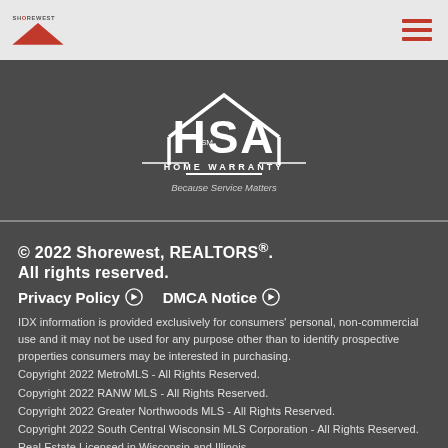[Figure (logo): Shorewest logo with red triangle/house shape and hamburger menu icon]
[Figure (logo): HSA Home Warranty logo - white text on dark gray background with tagline 'Because Service Matters']
© 2022 Shorewest, REALTORS®.
All rights reserved.
Privacy Policy ❯    DMCA Notice ❯
IDX information is provided exclusively for consumers' personal, non-commercial use and it may not be used for any purpose other than to identify prospective properties consumers may be interested in purchasing.
Copyright 2022 MetroMLS - All Rights Reserved.
Copyright 2022 RANW MLS - All Rights Reserved.
Copyright 2022 Greater Northwoods MLS - All Rights Reserved.
Copyright 2022 South Central Wisconsin MLS Corporation - All Rights Reserved.
Real Estate Licensed in Wisconsin and Illinois
Information is supplied by seller and other third parties and has not been verified.
Shorewest Realtors shall not be held responsible for any discrepancy and will not be liable for any damages of any kind arising from the use of this site.